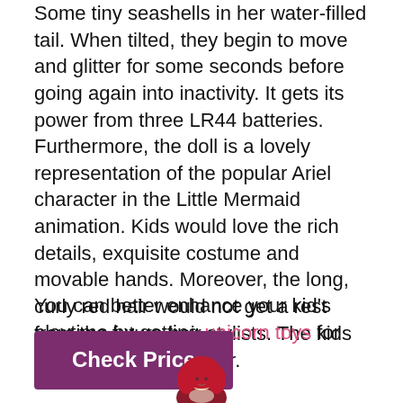Some tiny seashells in her water-filled tail. When tilted, they begin to move and glitter for some seconds before going again into inactivity. It gets its power from three LR44 batteries.
Furthermore, the doll is a lovely representation of the popular Ariel character in the Little Mermaid animation. Kids would love the rich details, exquisite costume and movable hands. Moreover, the long, curly red hair would not get a rest from the future hair stylists. The kids can't get enough of her.
You can better enhance your kid's playtime by getting unicorn toys for them.
[Figure (other): Purple 'Check Price' button]
[Figure (photo): Partial view of a doll with red hair at the bottom of the page]